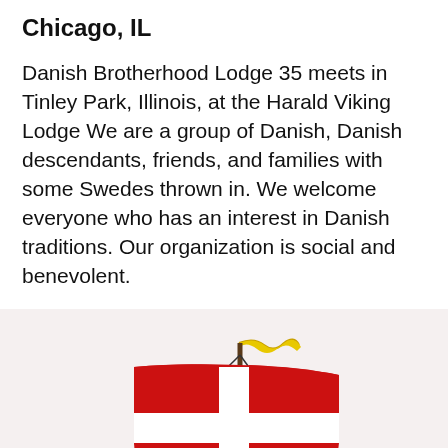Chicago, IL
Danish Brotherhood Lodge 35 meets in Tinley Park, Illinois, at the Harald Viking Lodge We are a group of Danish, Danish descendants, friends, and families with some Swedes thrown in. We welcome everyone who has an interest in Danish traditions. Our organization is social and benevolent.
[Figure (illustration): Illustration of a Viking longship with a red sail featuring a white cross (Danish flag pattern), a yellow wavy pennant at the top of the mast, and a dragon-head prow. The ship is shown from the side.]